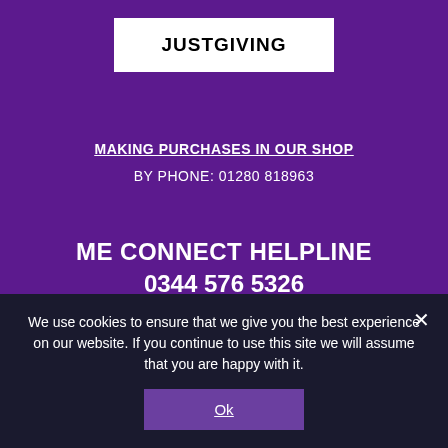JUSTGIVING
MAKING PURCHASES IN OUR SHOP
BY PHONE: 01280 818963
ME CONNECT HELPLINE
0344 576 5326
Available every day of the week between these times:
We use cookies to ensure that we give you the best experience on our website. If you continue to use this site we will assume that you are happy with it.